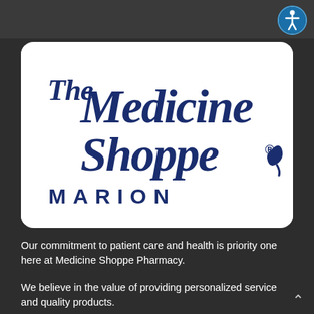[Figure (logo): The Medicine Shoppe pharmacy logo with cursive blue lettering on white rounded rectangle background, with 'MARION' in spaced capital letters below]
Our commitment to patient care and health is priority one here at Medicine Shoppe Pharmacy.
We believe in the value of providing personalized service and quality products.